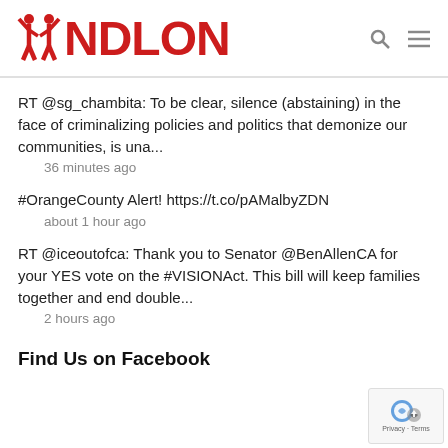NDLON
RT @sg_chambita: To be clear, silence (abstaining) in the face of criminalizing policies and politics that demonize our communities, is una...
36 minutes ago
#OrangeCounty Alert! https://t.co/pAMalbyZDN
about 1 hour ago
RT @iceoutofca: Thank you to Senator @BenAllenCA for your YES vote on the #VISIONAct. This bill will keep families together and end double...
2 hours ago
Find Us on Facebook